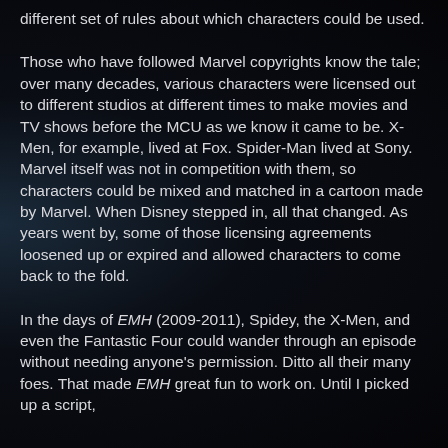different set of rules about which characters could be used.
Those who have followed Marvel copyrights know the tale; over many decades, various characters were licensed out to different studios at different times to make movies and TV shows before the MCU as we know it came to be. X-Men, for example, lived at Fox. Spider-Man lived at Sony. Marvel itself was not in competition with them, so characters could be mixed and matched in a cartoon made by Marvel. When Disney stepped in, all that changed. As years went by, some of those licensing agreements loosened up or expired and allowed characters to come back to the fold.
In the days of EMH (2009-2011), Spidey, the X-Men, and even the Fantastic Four could wander through an episode without needing anyone's permission. Ditto all their many foes. That made EMH great fun to work on. Until I picked up a script,